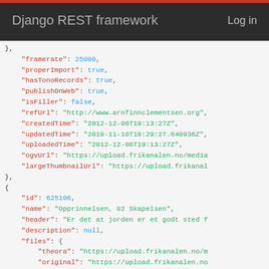Django REST framework   Log in
JSON code block showing API response fields: framerate, properImport, hasTonoRecords, publishOnWeb, isFiller, refUrl, createdTime, updatedTime, uploadedTime, ogvUrl, largeThumbnailUrl, then a new object with id: 625106, name, header, description, files containing theora, original, smallThumb, medThumb